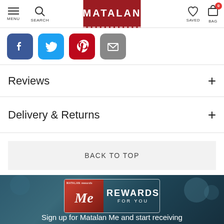MENU | SEARCH | MATALAN | SAVED | BAG 0
[Figure (screenshot): Social share buttons: Facebook (blue), Twitter (light blue), Pinterest (red), Email (grey)]
Reviews
Delivery & Returns
BACK TO TOP
[Figure (logo): Matalan Me Rewards For You logo on dark teal bokeh background]
Sign up for Matalan Me and start receiving